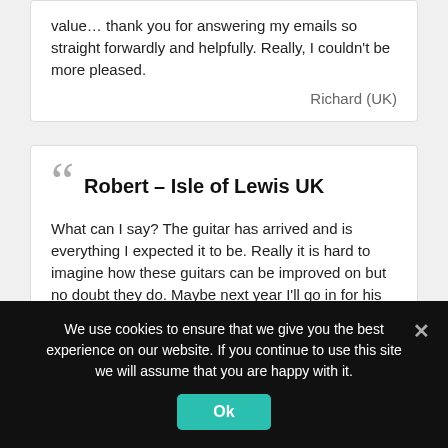value… thank you for answering my emails so straight forwardly and helpfully. Really, I couldn't be more pleased.
Richard (UK)
Robert – Isle of Lewis UK
What can I say? The guitar has arrived and is everything I expected it to be. Really it is hard to imagine how these guitars can be improved on but no doubt they do. Maybe next year I'll go in for his double top, it must be awesome! Thanks again.Best regards,
Robert (Isle of Lewis - UK)
We use cookies to ensure that we give you the best experience on our website. If you continue to use this site we will assume that you are happy with it.